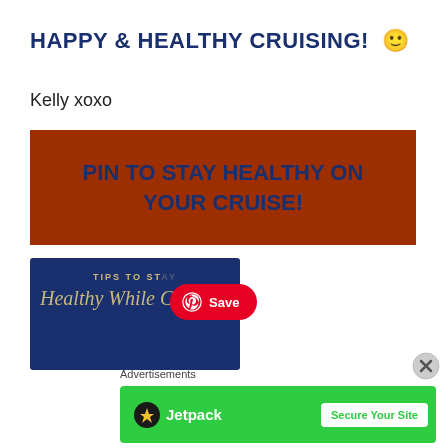HAPPY & HEALTHY CRUISING! 🙂
Kelly xoxo
[Figure (infographic): Orange-brown banner with bold dark blue text reading: PIN TO STAY HEALTHY ON YOUR CRUISE!]
[Figure (screenshot): Dark navy blue image with gold text: TIPS TO ST... Healthy While Cruising. Pinterest Save button overlay in red.]
Advertisements
[Figure (infographic): Jetpack ad banner on green background with Secure Your Site button]